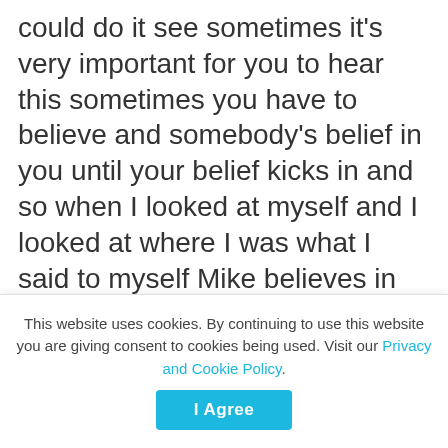could do it see sometimes it's very important for you to hear this sometimes you have to believe and somebody's belief in you until your belief kicks in and so when I looked at myself and I looked at where I was what I said to myself Mike believes in me he believes that I can do this and I'm saying to you as you look at your goals and look at your dreams one of the things that's important in and maintaining of an achievement driven mindset and a spirit of optimism is having someone in your corner having someone who believes in
This website uses cookies. By continuing to use this website you are giving consent to cookies being used. Visit our Privacy and Cookie Policy.